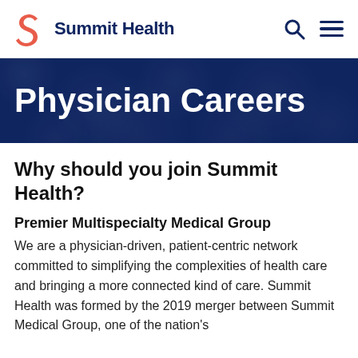Summit Health
Physician Careers
Why should you join Summit Health?
Premier Multispecialty Medical Group
We are a physician-driven, patient-centric network committed to simplifying the complexities of health care and bringing a more connected kind of care. Summit Health was formed by the 2019 merger between Summit Medical Group, one of the nation's